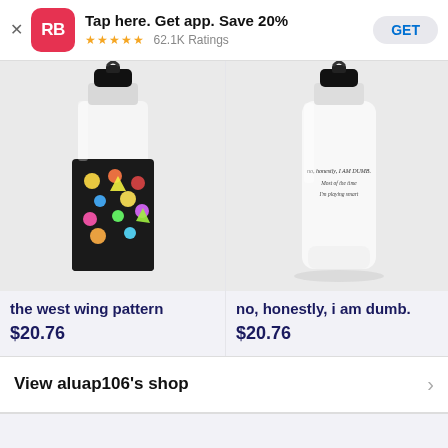[Figure (screenshot): Redbubble app banner ad with RB logo, 'Tap here. Get app. Save 20%', 5-star rating, 62.1K Ratings, and GET button]
[Figure (photo): Water bottle with 'the west wing pattern' dark emoji design]
the west wing pattern
$20.76
[Figure (photo): White water bottle with 'no, honestly, i am dumb. most of the time i'm playing smart' text]
no, honestly, i am dumb.
$20.76
[Figure (photo): Partial view of third water bottle product]
post h
$20.7
View aluap106's shop
Water Bottle T